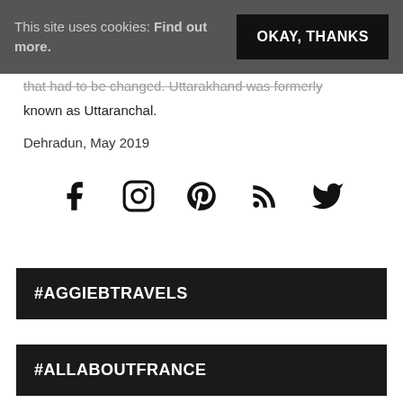This site uses cookies: Find out more.
that had to be changed. Uttarakhand was formerly known as Uttaranchal.
Dehradun, May 2019
[Figure (infographic): Row of five social media icons: Facebook, Instagram, Pinterest, RSS feed, Twitter]
#AGGIEBTRAVELS
#ALLABOUTFRANCE